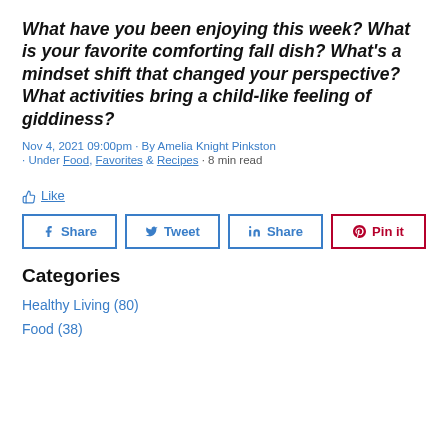What have you been enjoying this week? What is your favorite comforting fall dish? What's a mindset shift that changed your perspective? What activities bring a child-like feeling of giddiness?
Nov 4, 2021 09:00pm · By Amelia Knight Pinkston · Under Food, Favorites & Recipes · 8 min read
👍 Like
f Share | Tweet | in Share | Pin it
Categories
Healthy Living (80)
Food (38)